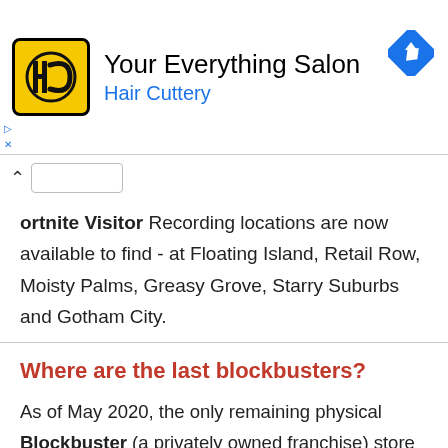[Figure (infographic): Hair Cuttery advertisement banner with yellow HC logo, title 'Your Everything Salon', subtitle 'Hair Cuttery', and a blue navigation diamond icon]
Fortnite Visitor Recording locations are now available to find - at Floating Island, Retail Row, Moisty Palms, Greasy Grove, Starry Suburbs and Gotham City.
Where are the last blockbusters?
As of May 2020, the only remaining physical Blockbuster (a privately owned franchise) store in the entire world remains open in Bend, Oregon. It is colloquially known as the Last Blockbuster.